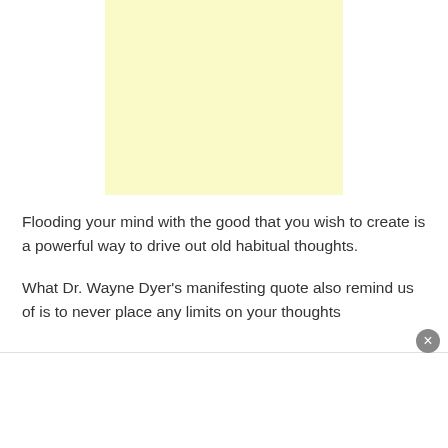[Figure (other): Light yellow rectangular advertisement block]
Flooding your mind with the good that you wish to create is a powerful way to drive out old habitual thoughts.
What Dr. Wayne Dyer's manifesting quote also remind us of is to never place any limits on your thoughts